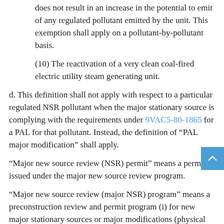does not result in an increase in the potential to emit of any regulated pollutant emitted by the unit. This exemption shall apply on a pollutant-by-pollutant basis.
(10) The reactivation of a very clean coal-fired electric utility steam generating unit.
d. This definition shall not apply with respect to a particular regulated NSR pollutant when the major stationary source is complying with the requirements under 9VAC5-80-1865 for a PAL for that pollutant. Instead, the definition of "PAL major modification" shall apply.
"Major new source review (NSR) permit" means a permit issued under the major new source review program.
"Major new source review (major NSR) program" means a preconstruction review and permit program (i) for new major stationary sources or major modifications (physical changes or changes in the method of